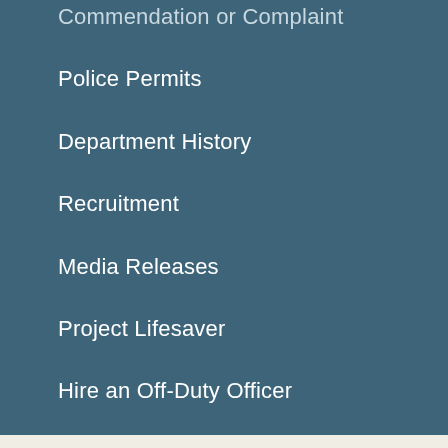Commendation or Complaint
Police Permits
Department History
Recruitment
Media Releases
Project Lifesaver
Hire an Off-Duty Officer
[Figure (illustration): Partial green circle visible at bottom center of page]